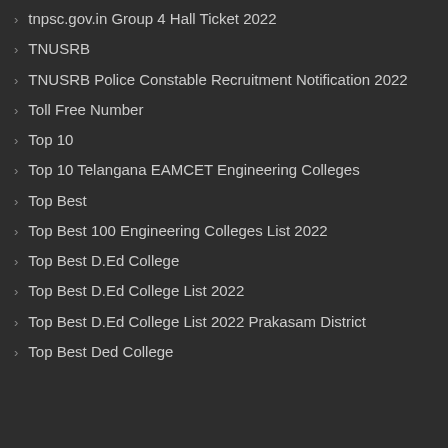tnpsc.gov.in Group 4 Hall Ticket 2022
TNUSRB
TNUSRB Police Constable Recruitment Notification 2022
Toll Free Number
Top 10
Top 10 Telangana EAMCET Engineering Colleges
Top Best
Top Best 100 Engineering Colleges List 2022
Top Best D.Ed College
Top Best D.Ed College List 2022
Top Best D.Ed College List 2022 Prakasam District
Top Best Ded College